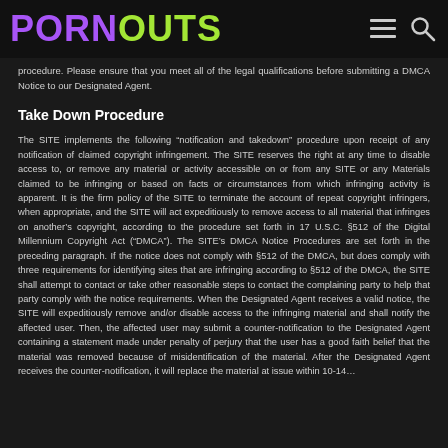PORNOUTS
procedure. Please ensure that you meet all of the legal qualifications before submitting a DMCA Notice to our Designated Agent.
Take Down Procedure
The SITE implements the following “notification and takedown” procedure upon receipt of any notification of claimed copyright infringement. The SITE reserves the right at any time to disable access to, or remove any material or activity accessible on or from any SITE or any Materials claimed to be infringing or based on facts or circumstances from which infringing activity is apparent. It is the firm policy of the SITE to terminate the account of repeat copyright infringers, when appropriate, and the SITE will act expeditiously to remove access to all material that infringes on another’s copyright, according to the procedure set forth in 17 U.S.C. §512 of the Digital Millennium Copyright Act (“DMCA”). The SITE’s DMCA Notice Procedures are set forth in the preceding paragraph. If the notice does not comply with §512 of the DMCA, but does comply with three requirements for identifying sites that are infringing according to §512 of the DMCA, the SITE shall attempt to contact or take other reasonable steps to contact the complaining party to help that party comply with the notice requirements. When the Designated Agent receives a valid notice, the SITE will expeditiously remove and/or disable access to the infringing material and shall notify the affected user. Then, the affected user may submit a counter-notification to the Designated Agent containing a statement made under penalty of perjury that the user has a good faith belief that the material was removed because of misidentification of the material. After the Designated Agent receives the counter-notification, it will replace the material at issue within 10-14…